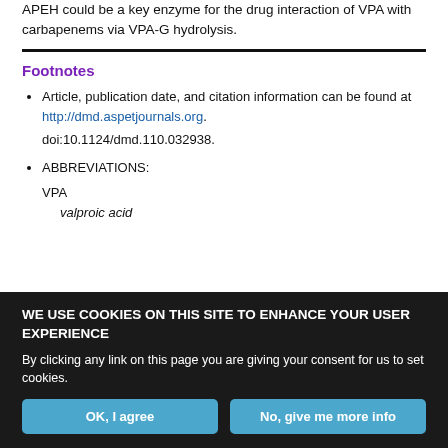APEH could be a key enzyme for the drug interaction of VPA with carbapenems via VPA-G hydrolysis.
Footnotes
Article, publication date, and citation information can be found at http://dmd.aspetjournals.org. doi:10.1124/dmd.110.032938.
ABBREVIATIONS: VPA valproic acid
WE USE COOKIES ON THIS SITE TO ENHANCE YOUR USER EXPERIENCE
By clicking any link on this page you are giving your consent for us to set cookies.